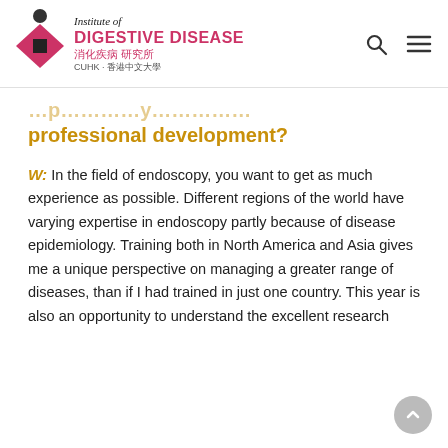Institute of Digestive Disease 消化疾病研究所 CUHK·香港中文大學
professional development?
W: In the field of endoscopy, you want to get as much experience as possible. Different regions of the world have varying expertise in endoscopy partly because of disease epidemiology. Training both in North America and Asia gives me a unique perspective on managing a greater range of diseases, than if I had trained in just one country. This year is also an opportunity to understand the excellent research